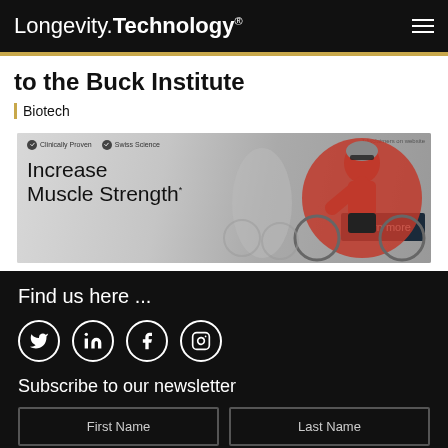Longevity.Technology®
to the Buck Institute
Biotech
[Figure (photo): Advertisement banner: cyclists riding bikes, text 'Increase Muscle Strength*', badges 'Clinically Proven' and 'Swiss Science', button 'Learn more', disclaimer '*disclaimers on website']
Find us here ...
[Figure (infographic): Social media icons: Twitter, LinkedIn, Facebook, Instagram — white circles on black background]
Subscribe to our newsletter
First Name
Last Name